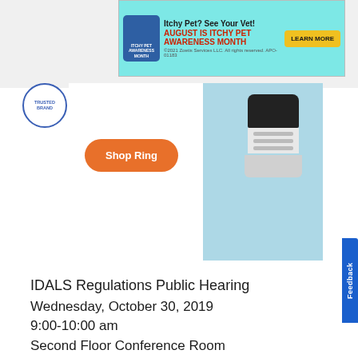[Figure (other): Advertisement banner for Itchy Pet Awareness Month by Zoetis. Teal background with orange/yellow button reading LEARN MORE. Text: Itchy Pet? See Your Vet! AUGUST IS ITCHY PET AWARENESS MONTH. ©2021 Zoetis Services LLC. All rights reserved. APO-01183]
[Figure (other): Ring security camera advertisement with orange Shop Ring button and a white camera device on blue background]
IDALS Regulations Public Hearing
Wednesday, October 30, 2019
9:00-10:00 am
Second Floor Conference Room
Wallace State Office Building
Des Moines, Iowa
AKC GR will publish a copy of its formal comment to IDALS